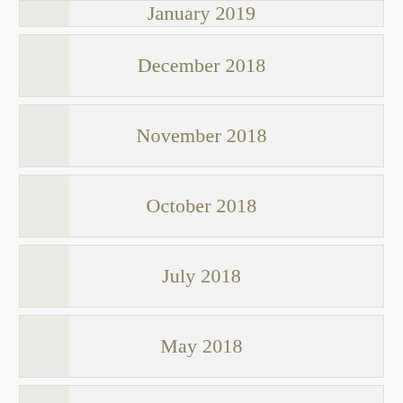January 2019
December 2018
November 2018
October 2018
July 2018
May 2018
February 2018
January 2018